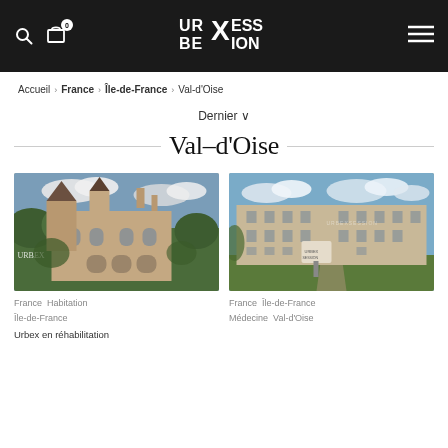URBEXSESSION header with search, cart, logo, and hamburger menu
Accueil > France > Île-de-France > Val-d'Oise
Dernier ∨
Val-d'Oise
[Figure (photo): Abandoned ornate château/villa with overgrown vegetation and Gothic architectural details]
[Figure (photo): Abandoned large institutional building (medical/sanatorium) with open grounds and a sign in the foreground]
France   Habitation   Île-de-France
France   Île-de-France   Médecine   Val-d'Oise
Urbex en réhabilitation